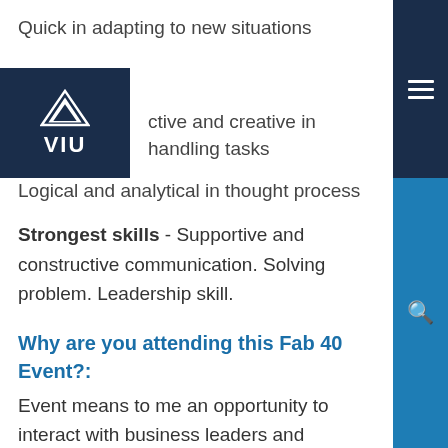Quick in adapting to new situations
ctive and creative in handling tasks
Logical and analytical in thought process
Strongest skills - Supportive and constructive communication. Solving problem. Leadership skill.
Why are you attending this Fab 40 Event?:
Event means to me an opportunity to interact with business leaders and establish networking opportunity. My participation in the event would avail me a chance of having firsthand knowledge of the roles of the Chamber of Commerce in business in